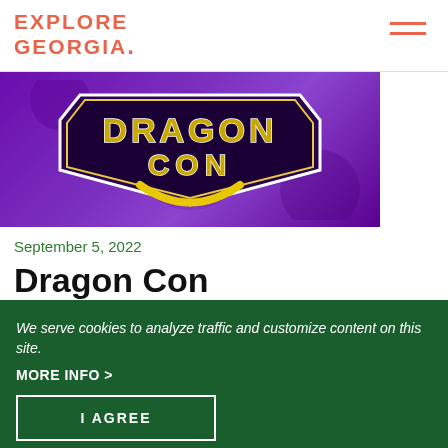EXPLORE GEORGIA.
[Figure (logo): Dragon Con logo on purple background with yellow text]
September 5, 2022
Dragon Con
We serve cookies to analyze traffic and customize content on this site.
MORE INFO >
I AGREE